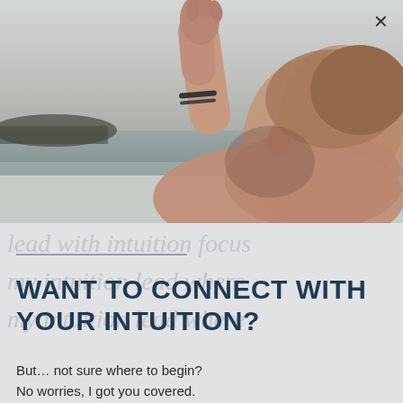[Figure (photo): Person with arm raised upward against an outdoor background with water and sky, viewed from side angle, blurred background]
WANT TO CONNECT WITH YOUR INTUITION?
But… not sure where to begin?
No worries, I got you covered.